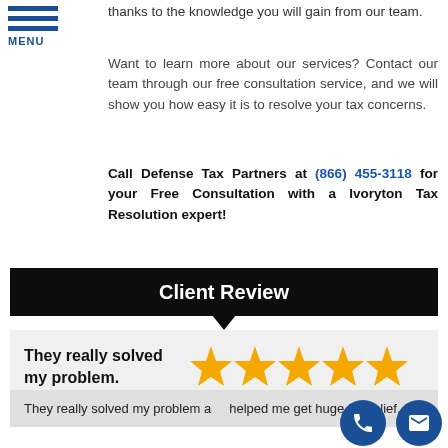MENU
thanks to the knowledge you will gain from our team.
Want to learn more about our services? Contact our team through our free consultation service, and we will show you how easy it is to resolve your tax concerns.
Call Defense Tax Partners at (866) 455-3118 for your Free Consultation with a Ivoryton Tax Resolution expert!
Client Review
They really solved my problem.
[Figure (infographic): Five gold stars rating]
They really solved my problem a helped me get huge tax relief, th